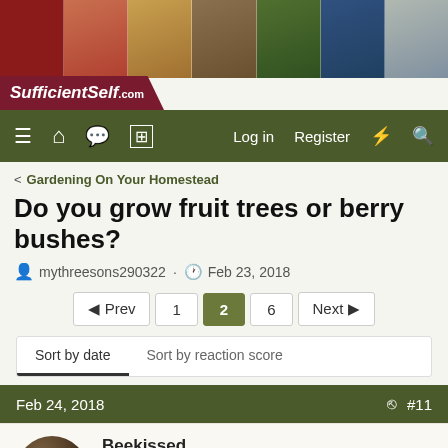[Figure (screenshot): SufficientSelf.com website banner with collage of homesteading photos]
SufficientSelf.com navigation bar with icons for menu, home, chat, grid, Log in, Register, lightning, search
< Gardening On Your Homestead
Do you grow fruit trees or berry bushes?
mythreesons290322 · Feb 23, 2018
◄ Prev  1  2  6  Next ►
Sort by date   Sort by reaction score
Feb 24, 2018   #11
Beekissed
Mountain Sage
Have 12 or 13 apple trees and 2 peach trees. Two raspberry plan... I got last year from a good friend but they've yet to bear. Scads of